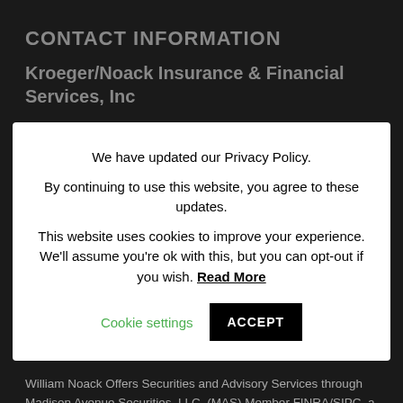CONTACT INFORMATION
Kroeger/Noack Insurance & Financial Services, Inc
We have updated our Privacy Policy.
By continuing to use this website, you agree to these updates.
This website uses cookies to improve your experience. We'll assume you're ok with this, but you can opt-out if you wish. Read More | Cookie settings | ACCEPT
William Noack Offers Securities and Advisory Services through Madison Avenue Securities, LLC, (MAS) Member FINRA/SIPC, a Registered Investment Advisor. Kroeger/Noack and MAS are not affiliated entities. Branch office located at 1340 Treat Blvd. #205, Walnut Creek, CA 94597 925-939-1140 CA Life Insurance #0562214 and